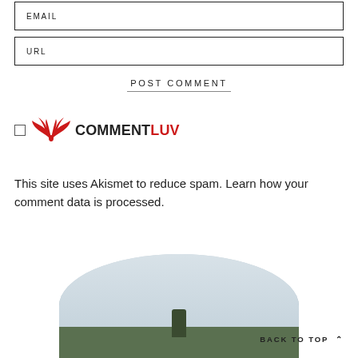EMAIL
URL
POST COMMENT
[Figure (logo): CommentLuv logo with red wing icon and checkbox]
This site uses Akismet to reduce spam. Learn how your comment data is processed.
[Figure (photo): Circular landscape photo at bottom showing sky and trees]
BACK TO TOP ∧